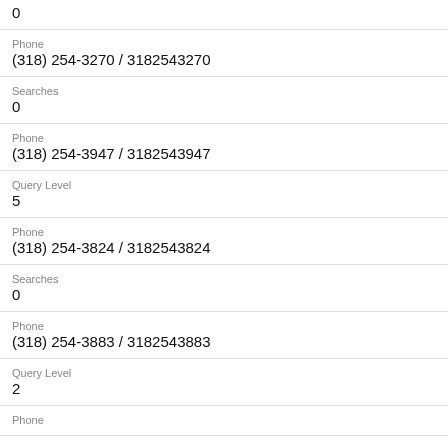0
Phone
(318) 254-3270 / 3182543270
Searches
0
Phone
(318) 254-3947 / 3182543947
Query Level
5
Phone
(318) 254-3824 / 3182543824
Searches
0
Phone
(318) 254-3883 / 3182543883
Query Level
2
Phone